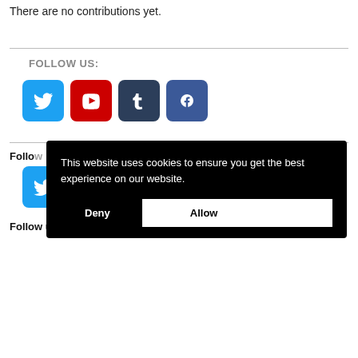There are no contributions yet.
FOLLOW US:
[Figure (other): Social media icons row: Twitter (blue), YouTube (red), Tumblr (dark blue), Facebook (blue)]
Follow
[Figure (other): Twitter icon (small, blue rounded square)]
Follow us on YouTube!
This website uses cookies to ensure you get the best experience on our website.
Deny
Allow